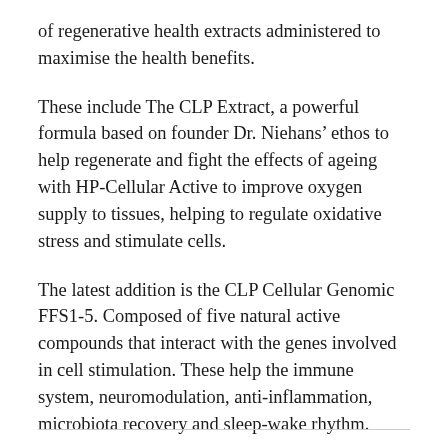of regenerative health extracts administered to maximise the health benefits.
These include The CLP Extract, a powerful formula based on founder Dr. Niehans’ ethos to help regenerate and fight the effects of ageing with HP-Cellular Active to improve oxygen supply to tissues, helping to regulate oxidative stress and stimulate cells.
The latest addition is the CLP Cellular Genomic FFS1-5. Composed of five natural active compounds that interact with the genes involved in cell stimulation. These help the immune system, neuromodulation, anti-inflammation, microbiota recovery and sleep-wake rhythm.